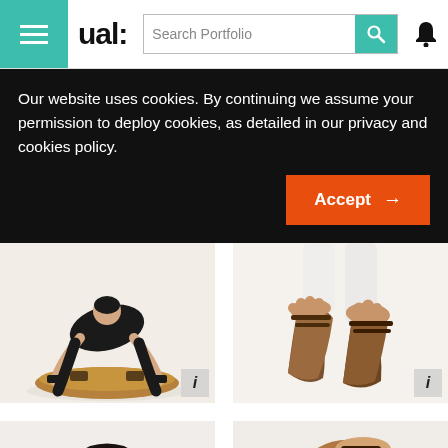ual: Search Portfolio
Our website uses cookies. By continuing we assume your permission to deploy cookies, as detailed in our privacy and cookies policy.
Accept →
[Figure (photo): Woman in black outfit bending over a wooden circular object/shoes on white background, with info badge]
[Figure (photo): Close-up of feet wearing wooden sculptural sandals on white background, with info badge]
[Figure (photo): Dark sculptural shoe/object on white background, partially visible]
[Figure (photo): Wooden sculptural heel shoe on light background, partially visible]